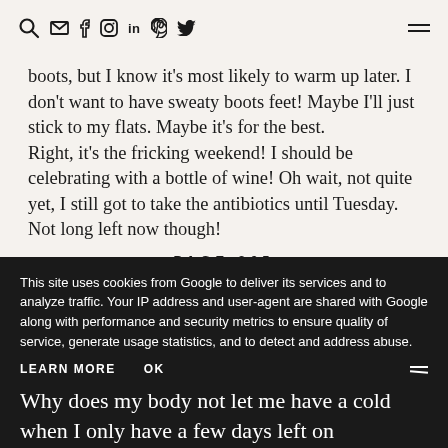search mail facebook instagram linkedin pinterest twitter menu
boots, but I know it's most likely to warm up later. I don't want to have sweaty boots feet! Maybe I'll just stick to my flats. Maybe it's for the best.
Right, it's the fricking weekend! I should be celebrating with a bottle of wine! Oh wait, not quite yet, I still got to take the antibiotics until Tuesday. Not long left now though!
PAGE 265
I think she w...
This site uses cookies from Google to deliver its services and to analyze traffic. Your IP address and user-agent are shared with Google along with performance and security metrics to ensure quality of service, generate usage statistics, and to detect and address abuse.
LEARN MORE    OK
Why does my body not let me have a cold when I only have a few days left on